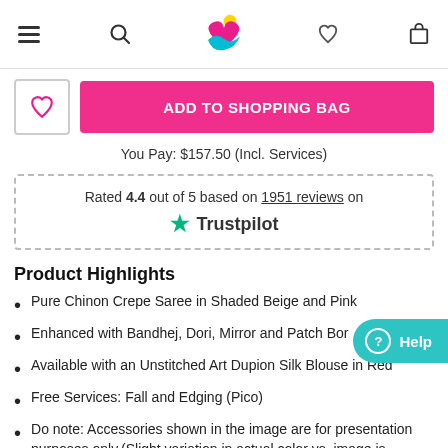Navigation bar with hamburger menu, search, logo, heart/wishlist, and shopping bag icons
ADD TO SHOPPING BAG
You Pay: $157.50 (Incl. Services)
Rated 4.4 out of 5 based on 1951 reviews on Trustpilot
Product Highlights
Pure Chinon Crepe Saree in Shaded Beige and Pink
Enhanced with Bandhej, Dori, Mirror and Patch Bord…
Available with an Unstitched Art Dupion Silk Blouse in Red
Free Services: Fall and Edging (Pico)
Do note: Accessories shown in the image are for presentation purposes only.(Slight variation in actual color vs. image is